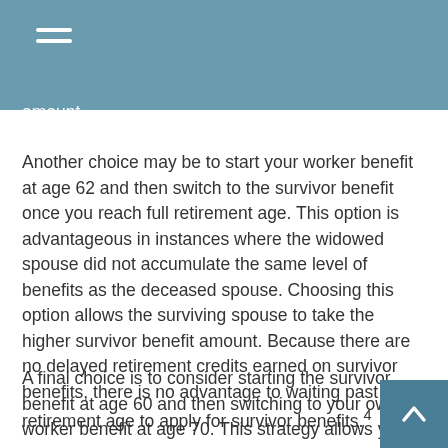amount.
Another choice may be to start your worker benefit at age 62 and then switch to the survivor benefit once you reach full retirement age. This option is advantageous in instances where the widowed spouse did not accumulate the same level of benefits as the deceased spouse. Choosing this option allows the surviving spouse to take the higher survivor benefit amount. Because there are no delayed retirement credits earned on survivor benefits, there is no advantage to waiting past full retirement age to apply for survivor benefits.4
A final choice is to consider starting the survivor benefit at age 60 and then switching to your own worker benefit at age 70. This strategy allows you to begin receiving income based on the survivor benefit as early as possible and simultaneously build up the maximum worker benefit